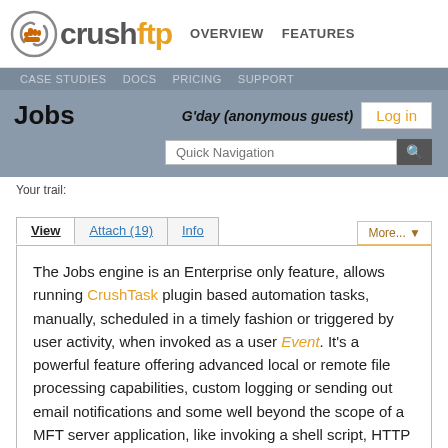crushftp OVERVIEW FEATURES
CASE STUDIES  DOCS  PRICING  SUPPORT
Jobs
G'day (anonymous guest)
Your trail:
View | Attach (19) | Info | More...
The Jobs engine is an Enterprise only feature, allows running CrushTask plugin based automation tasks, manually, scheduled in a timely fashion or triggered by user activity, when invoked as a user Event. It's a powerful feature offering advanced local or remote file processing capabilities, custom logging or sending out email notifications and some well beyond the scope of a MFT server application, like invoking a shell script, HTTP calls or SQL operations, IF/ELSE like decision making, text processing, etc. Our video tutorial covers the basics